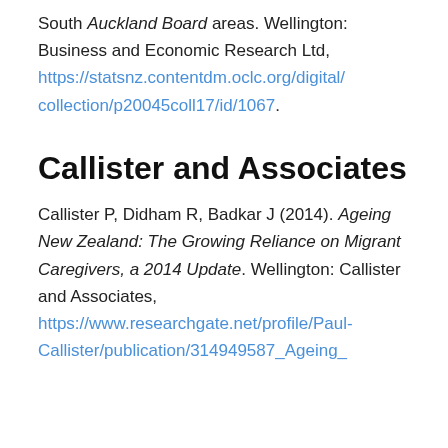South Auckland Board areas. Wellington: Business and Economic Research Ltd, https://statsnz.contentdm.oclc.org/digital/collection/p20045coll17/id/1067.
Callister and Associates
Callister P, Didham R, Badkar J (2014). Ageing New Zealand: The Growing Reliance on Migrant Caregivers, a 2014 Update. Wellington: Callister and Associates, https://www.researchgate.net/profile/Paul-Callister/publication/314949587_Ageing_